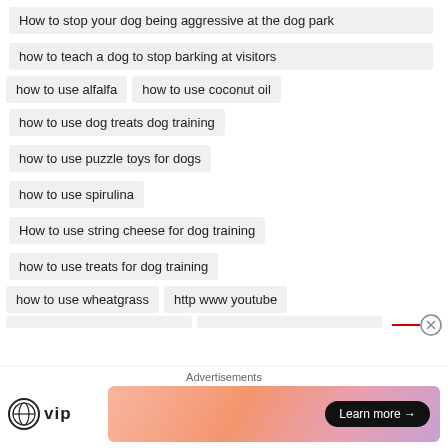How to stop your dog being aggressive at the dog park
how to teach a dog to stop barking at visitors
how to use alfalfa
how to use coconut oil
how to use dog treats dog training
how to use puzzle toys for dogs
how to use spirulina
How to use string cheese for dog training
how to use treats for dog training
how to use wheatgrass
http www youtube
Advertisements
[Figure (logo): WordPress VIP logo and advertisement banner with Learn more button]